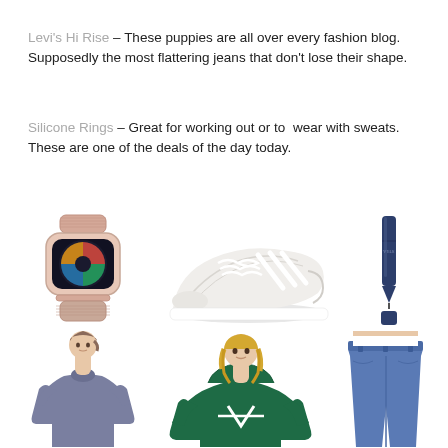Levi's Hi Rise – These puppies are all over every fashion blog. Supposedly the most flattering jeans that don't lose their shape.
Silicone Rings – Great for working out or to  wear with sweats. These are one of the deals of the day today.
[Figure (photo): Grid of 6 product photos: Apple Watch with pink sport loop band, white Adidas sneaker, navy eyeliner pen, woman in dusty blue t-shirt, woman in green Adidas hoodie, woman in high-rise jeans]